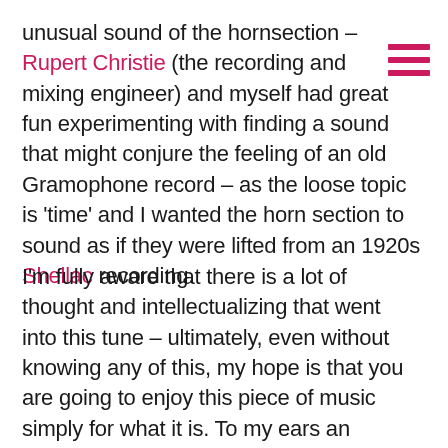unusual sound of the hornsection – Rupert Christie (the recording and mixing engineer) and myself had great fun experimenting with finding a sound that might conjure the feeling of an old Gramophone record – as the loose topic is 'time' and I wanted the horn section to sound as if they were lifted from an 1920s Shellac recording.
I'm fully aware that there is a lot of thought and intellectualizing that went into this tune – ultimately, even without knowing any of this, my hope is that you are going to enjoy this piece of music simply for what it is. To my ears an exciting and enjoyable journey with